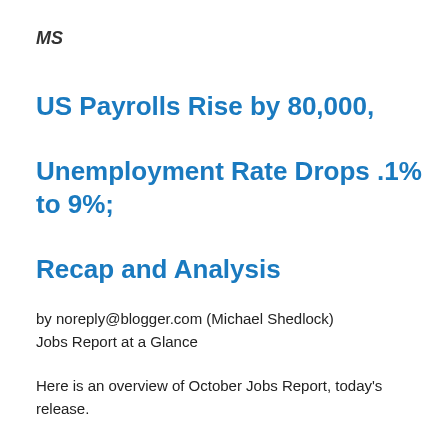MS
US Payrolls Rise by 80,000, Unemployment Rate Drops .1% to 9%; Recap and Analysis
by noreply@blogger.com (Michael Shedlock)
Jobs Report at a Glance
Here is an overview of October Jobs Report, today's release.